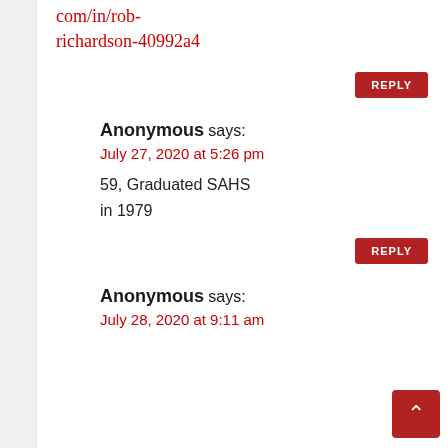com/in/rob-richardson-40992a4
REPLY
Anonymous says:
July 27, 2020 at 5:26 pm
59, Graduated SAHS in 1979
REPLY
Anonymous says:
July 28, 2020 at 9:11 am